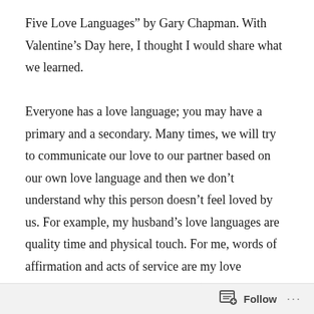Five Love Languages" by Gary Chapman. With Valentine’s Day here, I thought I would share what we learned.

Everyone has a love language; you may have a primary and a secondary. Many times, we will try to communicate our love to our partner based on our own love language and then we don’t understand why this person doesn’t feel loved by us. For example, my husband’s love languages are quality time and physical touch. For me, words of affirmation and acts of service are my love languages. When I buy him cards (which would be “words of affirmation–my love language), although he appreciates them, they don’t make him feel deeply loved. When we would quality time together, I was fulfilling his need, however, mine went unnutured. When he let me sleep late without me having to ask, or would tell me how proud he was of me for doing XYZ, my heart swelled. At that moment, I never felt more in love with
Follow ...